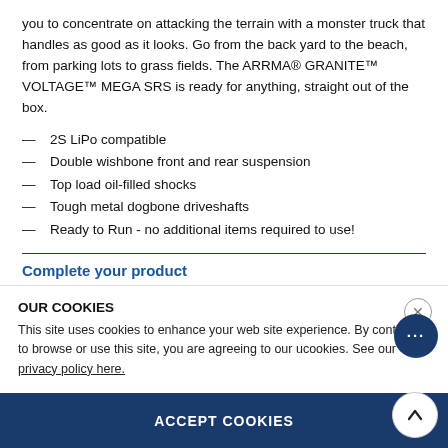you to concentrate on attacking the terrain with a monster truck that handles as good as it looks. Go from the back yard to the beach, from parking lots to grass fields. The ARRMA® GRANITE™ VOLTAGE™ MEGA SRS is ready for anything, straight out of the box.
2S LiPo compatible
Double wishbone front and rear suspension
Top load oil-filled shocks
Tough metal dogbone driveshafts
Ready to Run - no additional items required to use!
Complete your product
This product may require additional items in order to work. See below for required items that may be needed as optional.
OUR COOKIES
This site uses cookies to enhance your web site experience. By continuing to browse or use this site, you are agreeing to our use of cookies. See our privacy policy here.
ACCEPT COOKIES